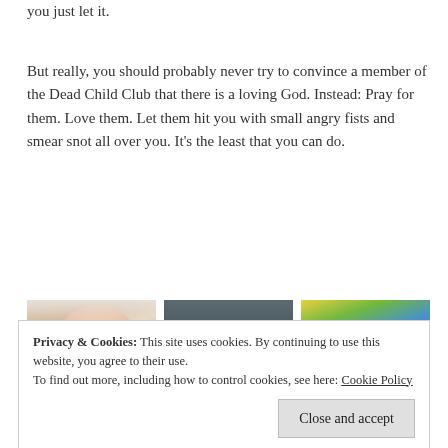you just let it.
But really, you should probably never try to convince a member of the Dead Child Club that there is a loving God. Instead: Pray for them. Love them. Let them hit you with small angry fists and smear snot all over you. It’s the least that you can do.
[Figure (photo): Three photos: a baby with reddish hair, a newborn, and a person in front of colorful artwork]
Privacy & Cookies: This site uses cookies. By continuing to use this website, you agree to their use.
To find out more, including how to control cookies, see here: Cookie Policy
[Figure (photo): Partial photo visible at bottom of page]